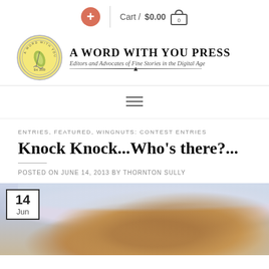Cart / $0.00  0
[Figure (logo): A Word with You Press circular logo with quill pen, yellow background, Est. 2009]
A Word with You Press
Editors and Advocates of Fine Stories in the Digital Age
[Figure (other): Hamburger navigation menu icon (three horizontal lines)]
ENTRIES, FEATURED, WINGNUTS: CONTEST ENTRIES
Knock Knock...Who’s there?...
POSTED ON JUNE 14, 2013 BY THORNTON SULLY
[Figure (photo): Food photo showing pancakes or French toast with syrup on a blue plate, with a date badge showing 14 Jun in the top left corner]